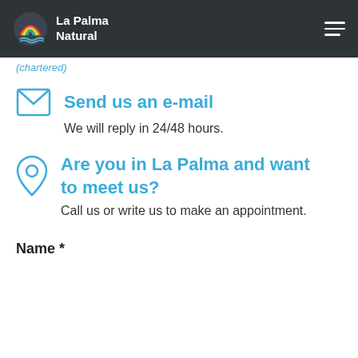La Palma Natural
(chartered)
Send us an e-mail
We will reply in 24/48 hours.
Are you in La Palma and want to meet us?
Call us or write us to make an appointment.
Name *